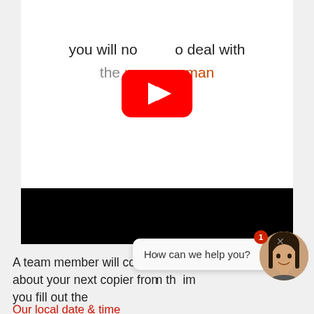you will no [YouTube icon] deal with the pu [YouTube icon] sman
[Figure (screenshot): Black horizontal bar below white video section]
A team member will contact you within the hour about your next copier from th[e] im[age] you fill out the[...]
Our local date & time
in Brandywine Maryland is: 29-08-2022 10:39:46
[Figure (screenshot): Chat widget overlay: avatar of woman, badge showing 1, speech bubble saying 'How can we help you?', close X button]